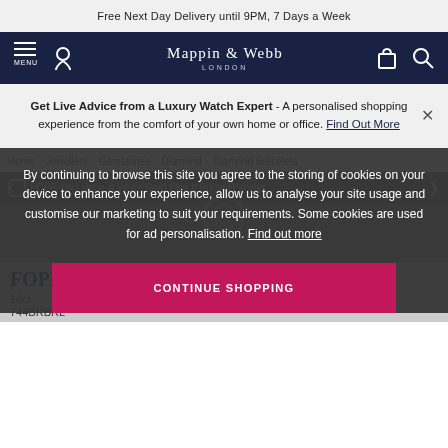Free Next Day Delivery until 9PM, 7 Days a Week
[Figure (logo): Mappin & Webb London logo and navigation icons on dark navy background]
Get Live Advice from a Luxury Watch Expert - A personalised shopping experience from the comfort of your own home or office. Find Out More
Home > Jewellery > Gemstones > Diamond > Diamond Bracelets
FOPE 18ct Rose & White Gold Flex It Prima Bracelet
By continuing to browse this site you agree to the storing of cookies on your device to enhance your experience, allow us to analyse your site usage and customise our marketing to suit your requirements. Some cookies are used for ad personalisation. Find out more
CONTINUE SHOPPING
FOPE
18ct
744BRBRL